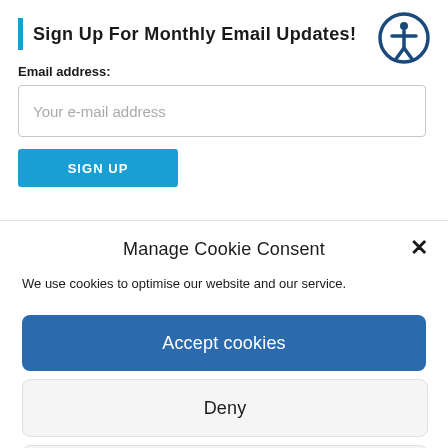Sign Up For Monthly Email Updates!
Email address:
Your e-mail address
SIGN UP
Manage Cookie Consent
We use cookies to optimise our website and our service.
Accept cookies
Deny
View preferences